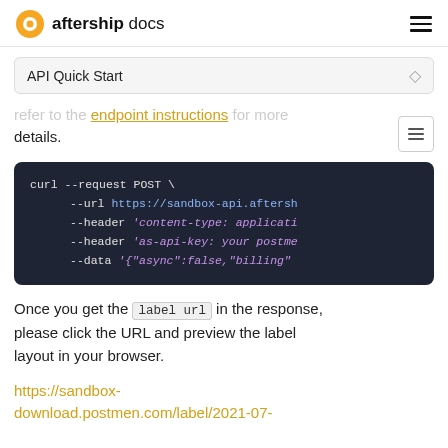aftership docs
API Quick Start
refer to the [endpoint instructions] for more details.
[Figure (screenshot): Code block showing curl command: curl --request POST \ --url https://sandbox-api.aftersh... --header 'content-type: applicati... --header 'as-api-key: your postme... --data '{"async":false,"billing"...]
Once you get the label url in the response, please click the URL and preview the label layout in your browser.
https://sandbox-download.postmen.com/label/2021-07-